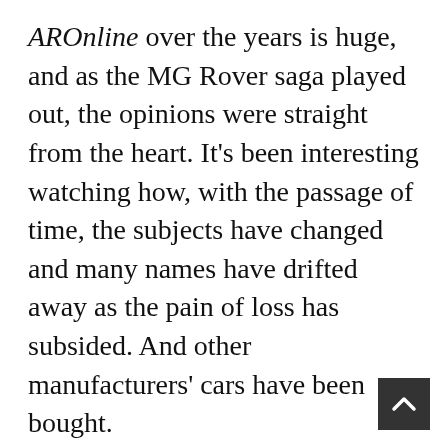AROnline over the years is huge, and as the MG Rover saga played out, the opinions were straight from the heart. It's been interesting watching how, with the passage of time, the subjects have changed and many names have drifted away as the pain of loss has subsided. And other manufacturers' cars have been bought.
But we're still here, fighting on, and commenting along the way – as well as offering a huge historical archive that will stand for as long as there's an internet host us.